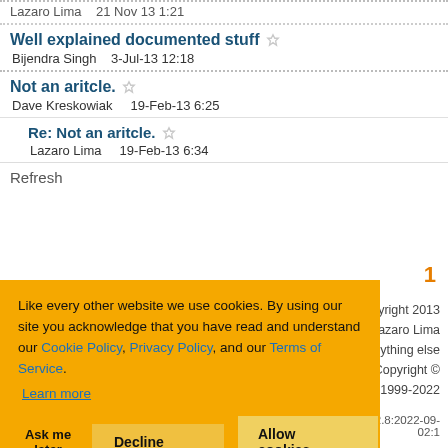Lazaro Lima   21 Nov 13 1:21
Well explained documented stuff
Bijendra Singh   3-Jul-13 12:18
Not an aritcle.
Dave Kreskowiak   19-Feb-13 6:25
Re: Not an aritcle.
Lazaro Lima   19-Feb-13 6:34
Refresh
1
Like every other website we use cookies. By using our site you acknowledge that you have read and understand our Cookie Policy, Privacy Policy, and our Terms of Service. Learn more
Ask me later   Decline   Allow cookies
Article Copyright 2013 by Lazaro Lima Everything else Copyright © CodeProject, 1999-2022
Web02 2.8:2022-09-02:1